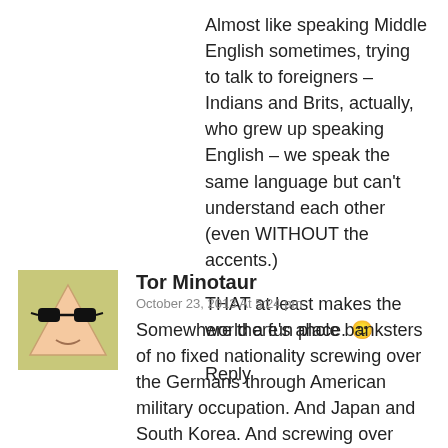Almost like speaking Middle English sometimes, trying to talk to foreigners – Indians and Brits, actually, who grew up speaking English – we speak the same language but can't understand each other (even WITHOUT the accents.)
THAT at least makes the world a fun place. 🙂
Reply
[Figure (illustration): Avatar image: cartoon character with sunglasses, triangular face, light green/yellow background]
Tor Minotaur
October 23, 2013 At 5:24 pm
Somewhere there's ahole banksters of no fixed nationality screwing over the Germans through American military occupation. And Japan and South Korea. And screwing over America by getting her to occupy everyone and feed her children to wolves.